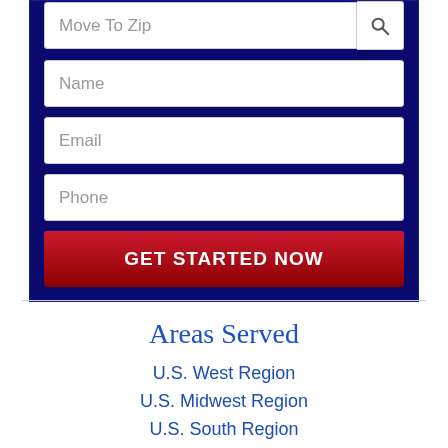[Figure (screenshot): Web form with dark navy blue background containing fields: Move To Zip (with search button), Name, Email, Phone, and a GET STARTED NOW button]
Areas Served
U.S. West Region
U.S. Midwest Region
U.S. South Region
U.S. Mid-Atlantic Region, VA
U.S. Pacific Region
International Movers